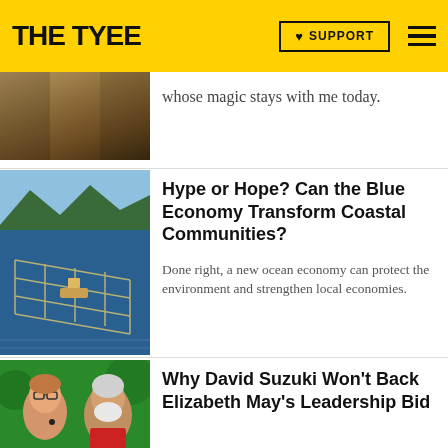THE TYEE | SUPPORT
whose magic stays with me today.
Hype or Hope? Can the Blue Economy Transform Coastal Communities?
Done right, a new ocean economy can protect the environment and strengthen local economies.
Why David Suzuki Won’t Back Elizabeth May’s Leadership Bid